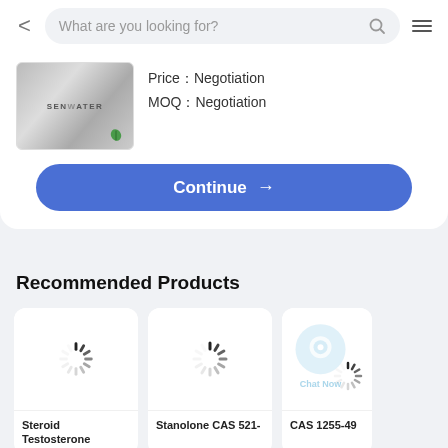What are you looking for?
[Figure (photo): Product image of foil packaging labeled SENWATER with green leaf]
Price：Negotiation
MOQ：Negotiation
Continue →
Recommended Products
[Figure (photo): Loading spinner for Steroid Testosterone product card]
Steroid Testosterone
[Figure (photo): Loading spinner for Stanolone CAS 521- product card]
Stanolone CAS 521-
[Figure (photo): Loading spinner with Chat Now overlay for CAS 1255-49 product card]
CAS 1255-49